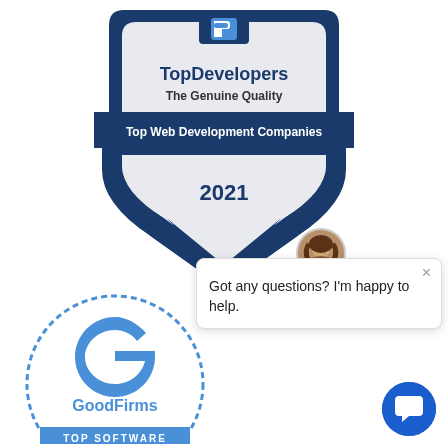[Figure (logo): TopDevelopers badge/shield with text 'TopDevelopers The Genuine Quality Top Web Development Companies 2021']
[Figure (infographic): Chat popup overlay with avatar photo of a woman and text 'Got any questions? I'm happy to help.' with X close button]
[Figure (logo): GoodFirms badge showing circular dashed border with GoodFirms logo and text 'TOP SOFTWARE']
[Figure (other): Blue circular chat bubble button in bottom right corner]